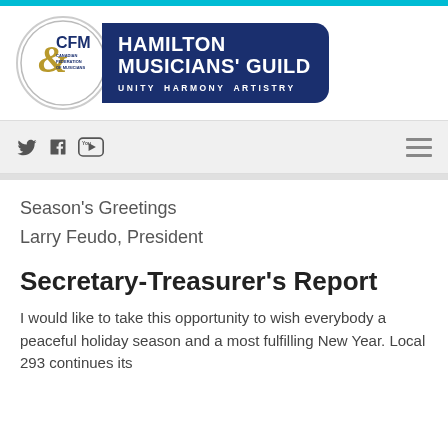[Figure (logo): Canadian Federation of Musicians (CFM) logo with circular emblem showing treble clef and text 'Canadian Federation of Musicians', paired with dark blue pill shape reading 'Hamilton Musicians' Guild' and tagline 'Unity Harmony Artistry']
Season's Greetings
Larry Feudo, President
Secretary-Treasurer's Report
I would like to take this opportunity to wish everybody a peaceful holiday season and a most fulfilling New Year.  Local 293 continues its